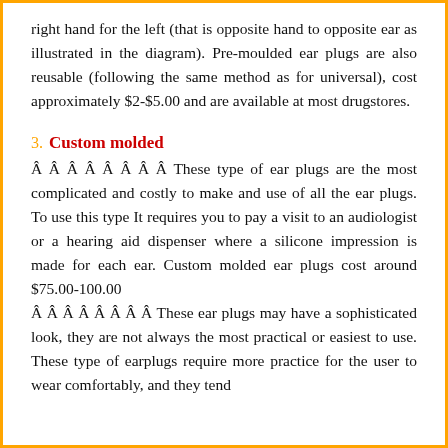right hand for the left (that is opposite hand to opposite ear as illustrated in the diagram). Pre-moulded ear plugs are also reusable (following the same method as for universal), cost approximately $2-$5.00 and are available at most drugstores.
3. Custom molded
Â Â Â Â Â Â Â Â These type of ear plugs are the most complicated and costly to make and use of all the ear plugs. To use this type It requires you to pay a visit to an audiologist or a hearing aid dispenser where a silicone impression is made for each ear. Custom molded ear plugs cost around $75.00-100.00
Â Â Â Â Â Â Â Â These ear plugs may have a sophisticated look, they are not always the most practical or easiest to use. These type of earplugs require more practice for the user to wear comfortably, and they tend to be more expensive to fit them and generally only are